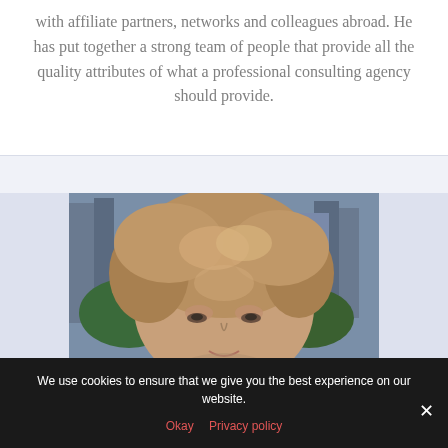with affiliate partners, networks and colleagues abroad. He has put together a strong team of people that provide all the quality attributes of what a professional consulting agency should provide.
[Figure (photo): Portrait photo of a woman with short curly blonde/brown hair, photographed outdoors with blurred building and greenery in the background.]
We use cookies to ensure that we give you the best experience on our website. Okay Privacy policy